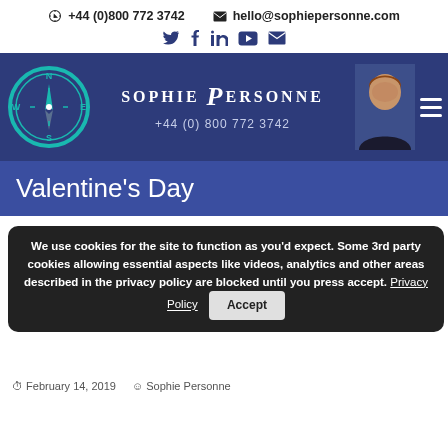+44 (0)800 772 3742   hello@sophiepersonne.com
[Figure (screenshot): Sophie Personne website header with compass logo, brand name, phone number, and portrait photo]
Valentine's Day
We use cookies for the site to function as you'd expect. Some 3rd party cookies allowing essential aspects like videos, analytics and other areas described in the privacy policy are blocked until you press accept. Privacy Policy  Accept
Is Someone...
Valentine's Day
February 14, 2019   Sophie Personne